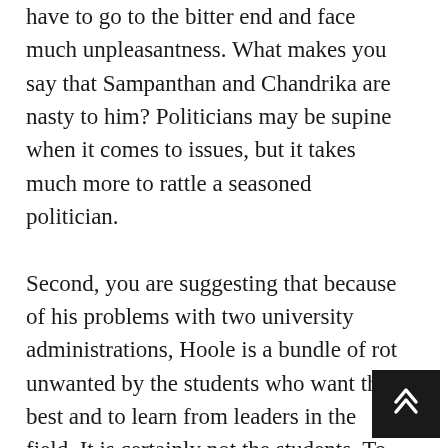have to go to the bitter end and face much unpleasantness. What makes you say that Sampanthan and Chandrika are nasty to him? Politicians may be supine when it comes to issues, but it takes much more to rattle a seasoned politician. Second, you are suggesting that because of his problems with two university administrations, Hoole is a bundle of rot unwanted by the students who want the best and to learn from leaders in the field. It is certainly not the students. To answer this you need to go into the mafia character of the academic hierarchy in our university system and the fear of young academics to think and act on their own. Hoole's history at